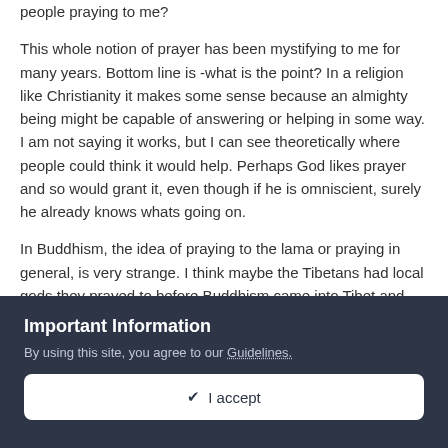people praying to me?
This whole notion of prayer has been mystifying to me for many years. Bottom line is -what is the point? In a religion like Christianity it makes some sense because an almighty being might be capable of answering or helping in some way. I am not saying it works, but I can see theoretically where people could think it would help. Perhaps God likes prayer and so would grant it, even though if he is omniscient, surely he already knows whats going on.
In Buddhism, the idea of praying to the lama or praying in general, is very strange. I think maybe the Tibetans had local gods they prayed to before Buddhism came into Tibet and they just continued to pray and just substituted the guru for the name of the local god. Anyway, I can't see the use of doing it. There
Important Information
By using this site, you agree to our Guidelines.
✔  I accept